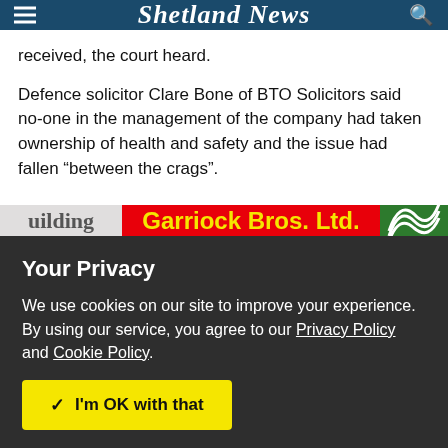Shetland News
received, the court heard.
Defence solicitor Clare Bone of BTO Solicitors said no-one in the management of the company had taken ownership of health and safety and the issue had fallen “between the crags”.
[Figure (other): Advertisement banner strip showing partial text 'uilding', Garriock Bros. Ltd. in yellow text on red background, and green logo on right]
Your Privacy
We use cookies on our site to improve your experience.
By using our service, you agree to our Privacy Policy and Cookie Policy.
✓ I'm OK with that